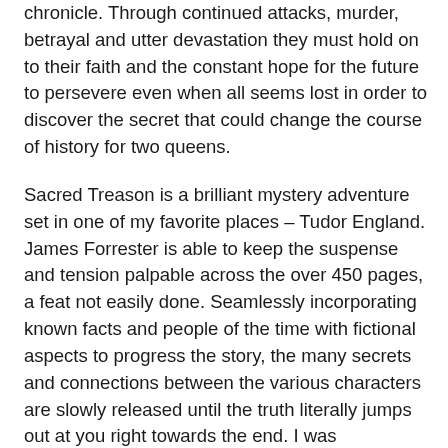chronicle. Through continued attacks, murder, betrayal and utter devastation they must hold on to their faith and the constant hope for the future to persevere even when all seems lost in order to discover the secret that could change the course of history for two queens.
Sacred Treason is a brilliant mystery adventure set in one of my favorite places – Tudor England. James Forrester is able to keep the suspense and tension palpable across the over 450 pages, a feat not easily done. Seamlessly incorporating known facts and people of the time with fictional aspects to progress the story, the many secrets and connections between the various characters are slowly released until the truth literally jumps out at you right towards the end. I was completely surprised with the discovery of the chronicle's ultimate secrets which is quite impressive as so often these sorts of stories are easy to unravel long before the ending. There are just so many twists, hidden truths and character connections that there is nothing to be done but to keep turning the pages. This being the first of a trilogy of stories, I am happy to say that some secrets are still left to be discovered in the subsequent books, such as the identify of